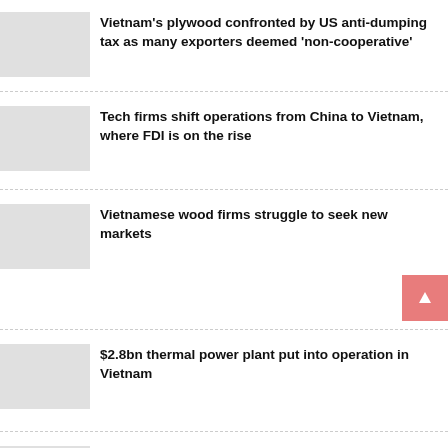Vietnam's plywood confronted by US anti-dumping tax as many exporters deemed 'non-cooperative'
Tech firms shift operations from China to Vietnam, where FDI is on the rise
Vietnamese wood firms struggle to seek new markets
$2.8bn thermal power plant put into operation in Vietnam
Vietnam 2022 rice exports to rise to 6.3-6.5 mln tonnes: food assoc